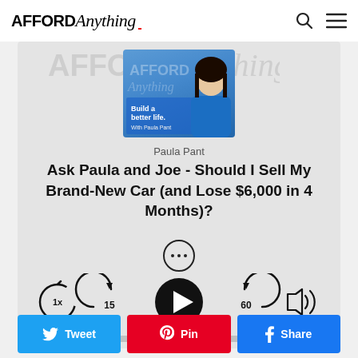AFFORD Anything
[Figure (photo): Podcast thumbnail showing Paula Pant with text 'Build a better life. With Paula Pant' on a blue background]
Paula Pant
Ask Paula and Joe - Should I Sell My Brand-New Car (and Lose $6,000 in 4 Months)?
[Figure (infographic): Audio player controls: playback speed 1x, rewind 15 seconds, play button, fast forward 60 seconds, volume control]
[Figure (infographic): Social share buttons: Twitter, Pinterest, Facebook]